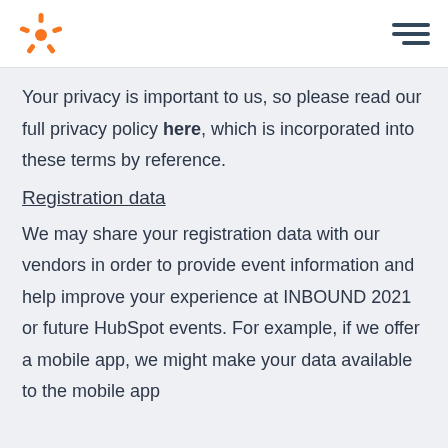HubSpot logo and navigation menu
Your privacy is important to us, so please read our full privacy policy here, which is incorporated into these terms by reference.
Registration data
We may share your registration data with our vendors in order to provide event information and help improve your experience at INBOUND 2021 or future HubSpot events. For example, if we offer a mobile app, we might make your data available to the mobile app